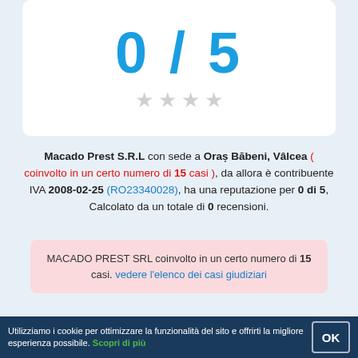[Figure (infographic): White card showing score 0/5 with 4 empty grey stars below]
Macado Prest S.R.L con sede a Oraș Băbeni, Vâlcea ( coinvolto in un certo numero di 15 casi ), da allora è contribuente IVA 2008-02-25 (RO23340028), ha una reputazione per 0 di 5, Calcolato da un totale di 0 recensioni.
MACADO PREST SRL coinvolto in un certo numero di 15 casi. vedere l'elenco dei casi giudiziari
R O 2 3 3 4 0 0 2 8
Utilizziamo i cookie per ottimizzare la funzionalità del sito e offrirti la migliore esperienza possibile. Scopri di più  OK